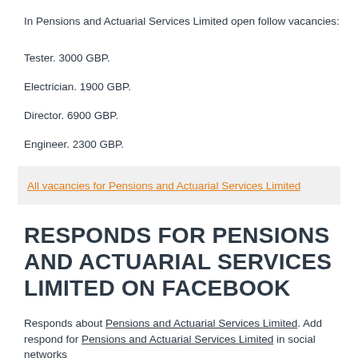In Pensions and Actuarial Services Limited open follow vacancies:
Tester. 3000 GBP.
Electrician. 1900 GBP.
Director. 6900 GBP.
Engineer. 2300 GBP.
All vacancies for Pensions and Actuarial Services Limited
RESPONDS FOR PENSIONS AND ACTUARIAL SERVICES LIMITED ON FACEBOOK
Responds about Pensions and Actuarial Services Limited. Add respond for Pensions and Actuarial Services Limited in social networks